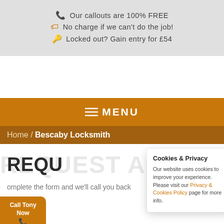Our callouts are 100% FREE
No charge if we can't do the job!
Locked out? Gain entry for £54
MENU
Home / Bescaby Locksmith
REQUEST A CALLBACK
Complete the form and we'll call you back
Cookies & Privacy — Our website uses cookies to improve your experience. Please visit our Privacy & Cookies Policy page for more info.